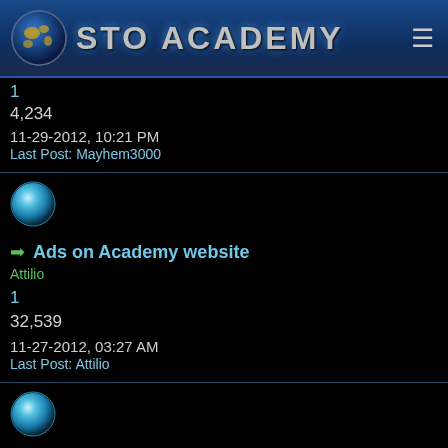STO ACADEMY
1
4,234
11-29-2012, 10:21 PM
Last Post: Mayhem3000
[Figure (illustration): Blue circular avatar icon]
→ Ads on Academy website
Attilio
1
32,539
11-27-2012, 03:27 AM
Last Post: Attilio
[Figure (illustration): Blue circular avatar icon]
→ Where did it all go wrong?
Monty
4